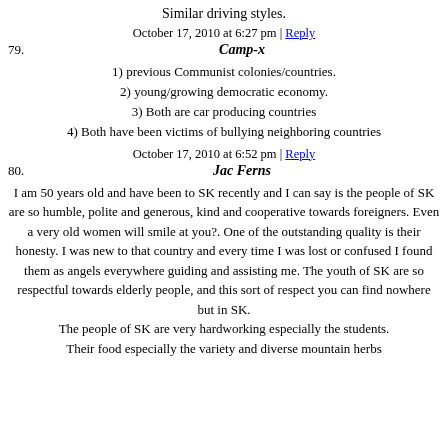Similar driving styles.
October 17, 2010 at 6:27 pm | Reply
79. Camp-x
1) previous Communist colonies/countries.
2) young/growing democratic economy.
3) Both are car producing countries
4) Both have been victims of bullying neighboring countries
October 17, 2010 at 6:52 pm | Reply
80. Jac Ferns
I am 50 years old and have been to SK recently and I can say is the people of SK are so humble, polite and generous, kind and cooperative towards foreigners. Even a very old women will smile at you?. One of the outstanding quality is their honesty. I was new to that country and every time I was lost or confused I found them as angels everywhere guiding and assisting me. The youth of SK are so respectful towards elderly people, and this sort of respect you can find nowhere but in SK.
The people of SK are very hardworking especially the students.
Their food especially the variety and diverse mountain herbs